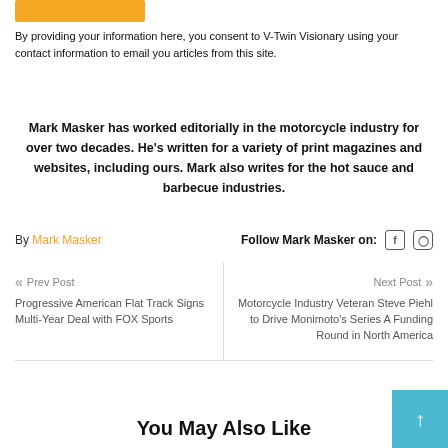By providing your information here, you consent to V-Twin Visionary using your contact information to email you articles from this site.
Mark Masker has worked editorially in the motorcycle industry for over two decades. He's written for a variety of print magazines and websites, including ours. Mark also writes for the hot sauce and barbecue industries.
By Mark Masker   Follow Mark Masker on:
Prev Post
Progressive American Flat Track Signs Multi-Year Deal with FOX Sports
Next Post
Motorcycle Industry Veteran Steve Piehl to Drive Monimoto's Series A Funding Round in North America
You May Also Like